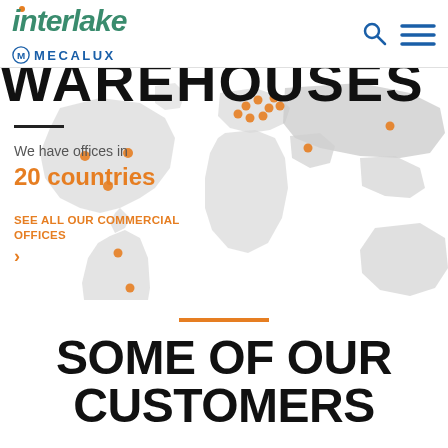Interlake Mecalux
[Figure (map): World map showing office locations across 20 countries with orange dot markers on North America, South America, Europe, and other regions]
We have offices in
20 countries
SEE ALL OUR COMMERCIAL OFFICES >
SOME OF OUR CUSTOMERS